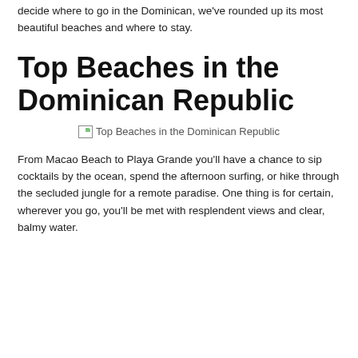decide where to go in the Dominican, we've rounded up its most beautiful beaches and where to stay.
Top Beaches in the Dominican Republic
[Figure (photo): Broken image placeholder labeled 'Top Beaches in the Dominican Republic']
From Macao Beach to Playa Grande you'll have a chance to sip cocktails by the ocean, spend the afternoon surfing, or hike through the secluded jungle for a remote paradise. One thing is for certain, wherever you go, you'll be met with resplendent views and clear, balmy water.